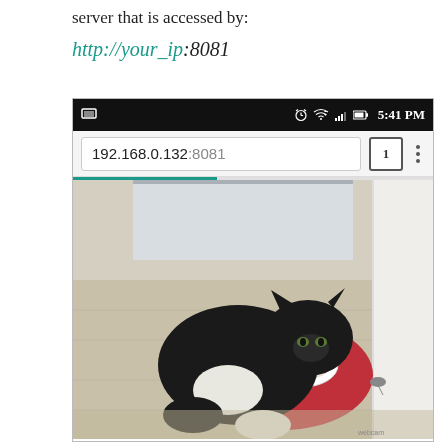server that is accessed by:
http://your_ip:8081
[Figure (screenshot): Android browser screenshot showing address bar with '192.168.0.132:8081' and a cat eating from a bowl on a red mat on a wooden floor]